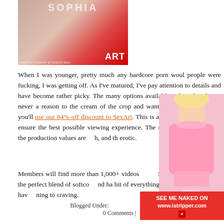[Figure (photo): Partial photo with ART watermark label at bottom right and photographer credit at bottom left]
When I was younger, pretty much any hardcore porn would people were fucking, I was getting off. As I've matured, I've pay attention to details and have become rather picky. The many options available online that there's never a reason to the cream of the crop and want porn with class, then you'll use our 84% off discount to SexArt. This is a site that goe details to ensure the best possible viewing experience. The most stunning models, the production values are high, and th erotic.
Members will find more than 1,000+ videos and 1,500 archives. They're the perfect blend of softcore and ha bit of everything on the menu, so you'll have something to craving.
Blogged Under:
0 Comments |
[Figure (photo): Blonde woman in pink lingerie advertisement for istripper.com with SEE ME NAKED ON www.istripper.com banner]